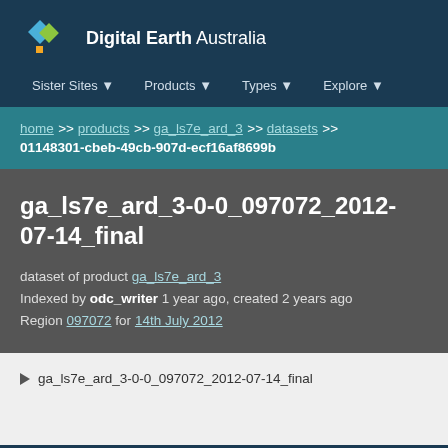[Figure (logo): Digital Earth Australia logo with diamond shapes in blue, green, and yellow]
Digital Earth Australia
Sister Sites ▼   Products ▼   Types ▼   Explore ▼
home >> products >> ga_ls7e_ard_3 >> datasets >> 01148301-cbeb-49cb-907d-ecf16af8699b
ga_ls7e_ard_3-0-0_097072_2012-07-14_final
dataset of product ga_ls7e_ard_3
Indexed by odc_writer 1 year ago, created 2 years ago
Region 097072 for 14th July 2012
▶ ga_ls7e_ard_3-0-0_097072_2012-07-14_final